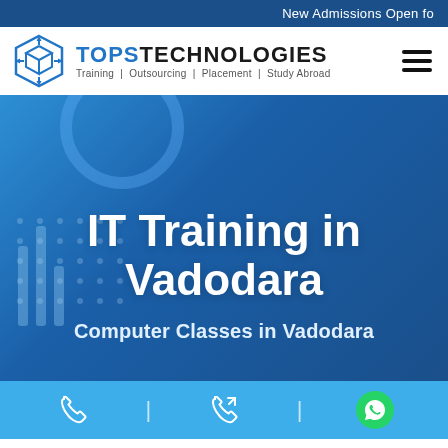New Admissions Open fo
[Figure (logo): TOPS Technologies logo with hexagonal cube icon. Text: TOPS TECHNOLOGIES, Training | Outsourcing | Placement | Study Abroad]
IT Training in Vadodara
Computer Classes in Vadodara
[Figure (infographic): Contact bar with phone icon, callback icon (dividers between), and green WhatsApp button]